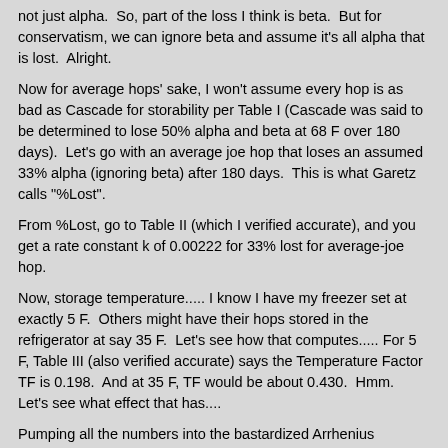not just alpha.  So, part of the loss I think is beta.  But for conservatism, we can ignore beta and assume it's all alpha that is lost.  Alright.
Now for average hops' sake, I won't assume every hop is as bad as Cascade for storability per Table I (Cascade was said to be determined to lose 50% alpha and beta at 68 F over 180 days).  Let's go with an average joe hop that loses an assumed 33% alpha (ignoring beta) after 180 days.  This is what Garetz calls "%Lost".
From %Lost, go to Table II (which I verified accurate), and you get a rate constant k of 0.00222 for 33% lost for average-joe hop.
Now, storage temperature..... I know I have my freezer set at exactly 5 F.  Others might have their hops stored in the refrigerator at say 35 F.  Let's see how that computes..... For 5 F, Table III (also verified accurate) says the Temperature Factor TF is 0.198.  And at 35 F, TF would be about 0.430.  Hmm.  Let's see what effect that has....
Pumping all the numbers into the bastardized Arrhenius equation, let's say for average-joe hop of initial 6.4% alpha, stored at 5 F or 35 F for 180 days, the maths look like this:
future alpha = 6.4/exp(0.00222*0.198*0.33*180) = 6.24% alpha (5 F)